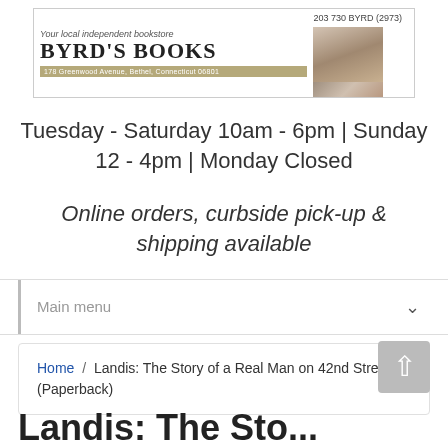[Figure (logo): Byrd's Books logo banner with store name, address, phone number 203 730 BYRD (2973), and a photo of the store building]
Tuesday - Saturday 10am - 6pm | Sunday 12 - 4pm | Monday Closed
Online orders, curbside pick-up & shipping available
Main menu
Home / Landis: The Story of a Real Man on 42nd Street (Paperback)
Landis: The Sto...